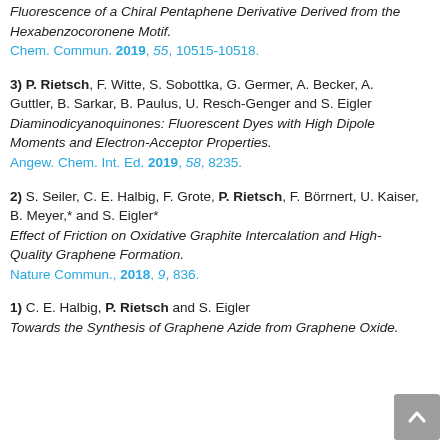Fluorescence of a Chiral Pentaphene Derivative Derived from the Hexabenzocoronene Motif. Chem. Commun. 2019, 55, 10515-10518.
3) P. Rietsch, F. Witte, S. Sobottka, G. Germer, A. Becker, A. Guttler, B. Sarkar, B. Paulus, U. Resch-Genger and S. Eigler Diaminodicyanoquinones: Fluorescent Dyes with High Dipole Moments and Electron-Acceptor Properties. Angew. Chem. Int. Ed. 2019, 58, 8235.
2) S. Seiler, C. E. Halbig, F. Grote, P. Rietsch, F. Börrnert, U. Kaiser, B. Meyer,* and S. Eigler* Effect of Friction on Oxidative Graphite Intercalation and High-Quality Graphene Formation. Nature Commun., 2018, 9, 836.
1) C. E. Halbig, P. Rietsch and S. Eigler Towards the Synthesis of Graphene Azide from Graphene Oxide.